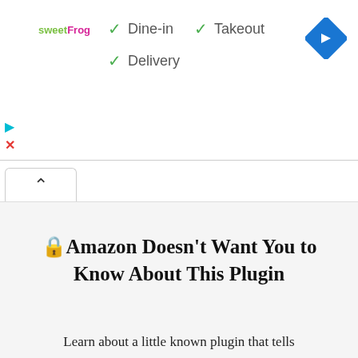[Figure (logo): sweetFrog logo in green and pink text]
✓ Dine-in  ✓ Takeout
✓ Delivery
[Figure (illustration): Blue diamond-shaped navigation/directions icon with right-turn arrow]
[Figure (illustration): Small play and close (X) icons on left side]
[Figure (illustration): Collapse/chevron-up tab button]
🔌Amazon Doesn't Want You to Know About This Plugin
Learn about a little known plugin that tells